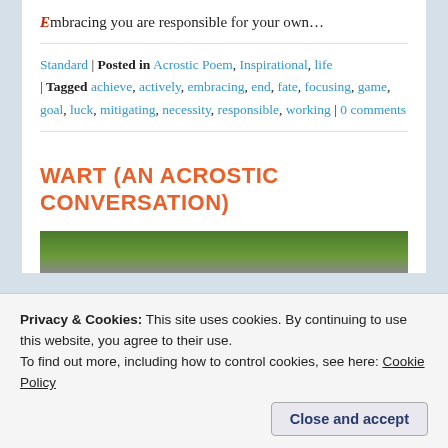Embracing you are responsible for your own…
Standard | Posted in Acrostic Poem, Inspirational, life | Tagged achieve, actively, embracing, end, fate, focusing, game, goal, luck, mitigating, necessity, responsible, working | 0 comments
WART (AN ACROSTIC CONVERSATION)
[Figure (photo): A strip of green moss/plant image visible at top of post]
Privacy & Cookies: This site uses cookies. By continuing to use this website, you agree to their use. To find out more, including how to control cookies, see here: Cookie Policy
Close and accept